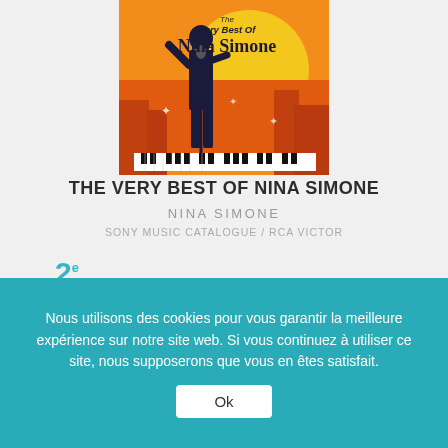[Figure (illustration): Album cover for The Very Best Of Nina Simone — orange and yellow background with silhouette of a singer at a microphone stand, city skyline behind, piano keys at the bottom strip.]
THE VERY BEST OF NINA SIMONE
NINA SIMONE
SONY MUSIC CATALOGUE / RCA VICTOR
2e
La Semaine Dernière
[Figure (other): Three service icons: Deezer bars icon, Fnac logo icon, and a magnifying glass / search icon]
Nous utilisons des cookies pour vous garantir la meilleure expérience sur notre site web. Si vous continuez à utiliser ce site, nous supposerons que vous en êtes satisfait.
Ok